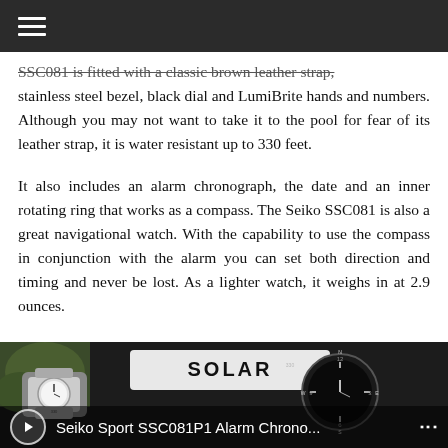≡
SSC081 is fitted with a classic brown leather strap, stainless steel bezel, black dial and LumiBrite hands and numbers. Although you may not want to take it to the pool for fear of its leather strap, it is water resistant up to 330 feet.
It also includes an alarm chronograph, the date and an inner rotating ring that works as a compass. The Seiko SSC081 is also a great navigational watch. With the capability to use the compass in conjunction with the alarm you can set both direction and timing and never be lost. As a lighter watch, it weighs in at 2.9 ounces.
[Figure (screenshot): Video thumbnail showing a watch on a wrist with a 'SOLAR' watch face. Overlay bar shows: Seiko Sport SSC081P1 Alarm Chrono... with a menu icon on the right.]